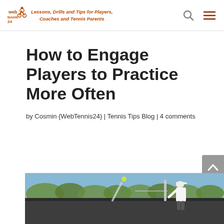Lessons, Drills and Tips for Players, Coaches and Tennis Parents — WebTennis24 logo with search and menu icons
How to Engage Players to Practice More Often
by Cosmin {WebTennis24} | Tennis Tips Blog | 4 comments
[Figure (photo): A tennis coach or player on a tennis court, with a ball in the air, trees and court structure visible in the background.]